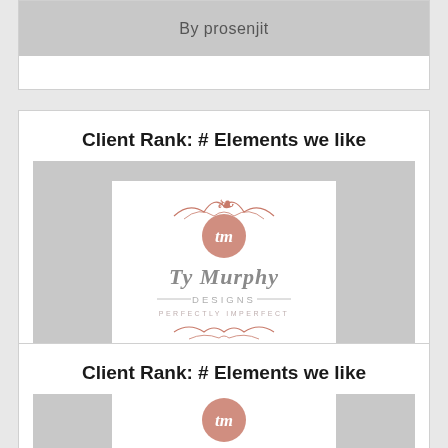By  prosenjit
Client Rank: # Elements we like
[Figure (logo): Ty Murphy Designs logo — ornate rose-gold decorative badge with cursive 'tm' monogram, text 'Ty Murphy DESIGNS PERFECTLY IMPERFECT', decorative scrollwork]
Submission #299
By  prosenjit
Client Rank: # Elements we like
[Figure (logo): Ty Murphy Designs logo partial — same ornate rose-gold logo, partially visible]